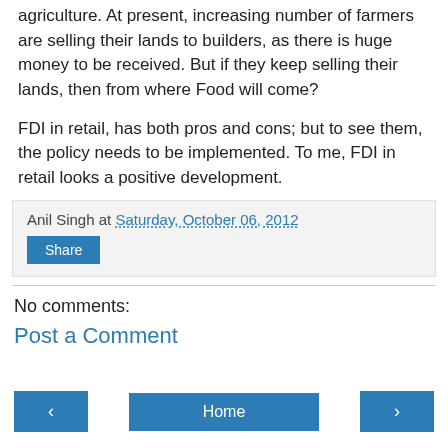agriculture. At present, increasing number of farmers are selling their lands to builders, as there is huge money to be received. But if they keep selling their lands, then from where Food will come?
FDI in retail, has both pros and cons; but to see them, the policy needs to be implemented. To me, FDI in retail looks a positive development.
Anil Singh at Saturday, October 06, 2012
Share
No comments:
Post a Comment
Home